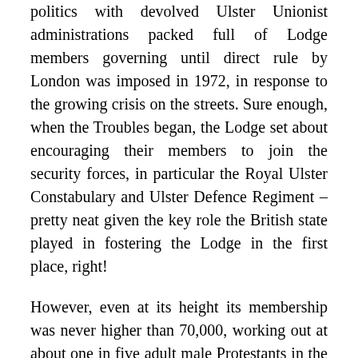politics with devolved Ulster Unionist administrations packed full of Lodge members governing until direct rule by London was imposed in 1972, in response to the growing crisis on the streets. Sure enough, when the Troubles began, the Lodge set about encouraging their members to join the security forces, in particular the Royal Ulster Constabulary and Ulster Defence Regiment – pretty neat given the key role the British state played in fostering the Lodge in the first place, right!
However, even at its height its membership was never higher than 70,000, working out at about one in five adult male Protestants in the North of Ireland. The Lodge did not, and still doesn't, have a monopoly on Loyalism and were one of several – sometimes competing – organisations striving to be the most Proddy and Loyal defenders of God, Ulster and Her Majesty, not to mention